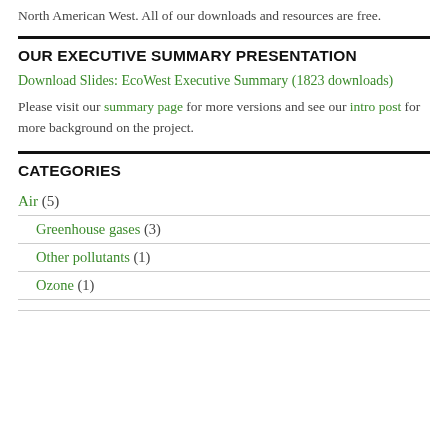North American West. All of our downloads and resources are free.
OUR EXECUTIVE SUMMARY PRESENTATION
Download Slides: EcoWest Executive Summary (1823 downloads)
Please visit our summary page for more versions and see our intro post for more background on the project.
CATEGORIES
Air (5)
Greenhouse gases (3)
Other pollutants (1)
Ozone (1)